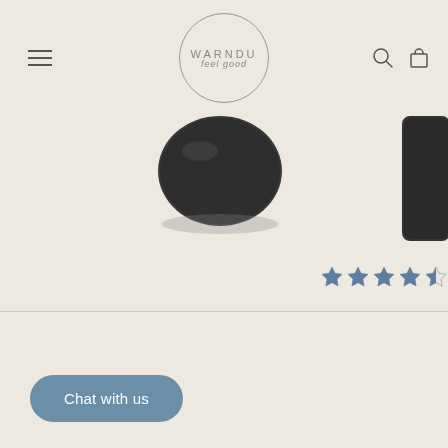Warndu Feel Good — website header with navigation and logo
[Figure (screenshot): Product images partially visible — dark round tray/plate on left center, another dark product partially cropped on right edge]
[Figure (other): Star rating row showing approximately 4.5 out of 5 stars in blue-grey color]
Chat with us